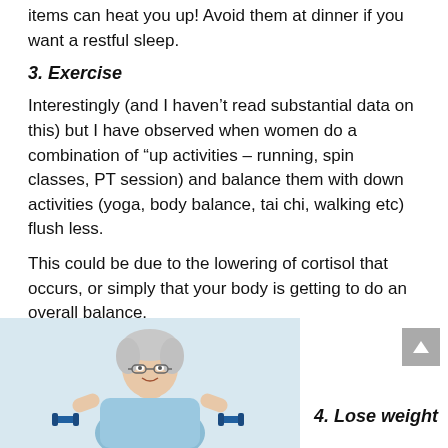items can heat you up! Avoid them at dinner if you want a restful sleep.
3. Exercise
Interestingly (and I haven't read substantial data on this) but I have observed when women do a combination of “up activities – running, spin classes, PT session) and balance them with down activities (yoga, body balance, tai chi, walking etc) flush less.
This could be due to the lowering of cortisol that occurs, or simply that your body is getting to do an overall balance.
[Figure (photo): An older woman with short grey hair, wearing a light blue top, smiling and holding small blue dumbbells, photographed against a light background.]
4. Lose weight